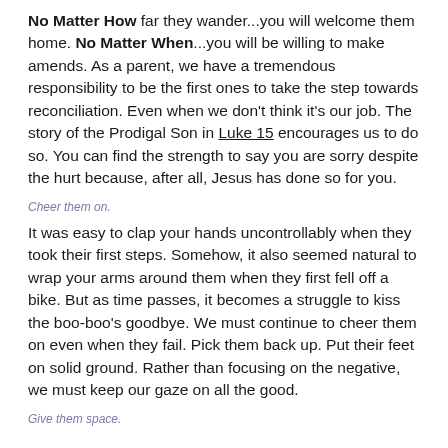No Matter How far they wander...you will welcome them home. No Matter When...you will be willing to make amends. As a parent, we have a tremendous responsibility to be the first ones to take the step towards reconciliation. Even when we don't think it's our job. The story of the Prodigal Son in Luke 15 encourages us to do so. You can find the strength to say you are sorry despite the hurt because, after all, Jesus has done so for you.
Cheer them on.
It was easy to clap your hands uncontrollably when they took their first steps. Somehow, it also seemed natural to wrap your arms around them when they first fell off a bike. But as time passes, it becomes a struggle to kiss the boo-boo's goodbye. We must continue to cheer them on even when they fail. Pick them back up. Put their feet on solid ground. Rather than focusing on the negative, we must keep our gaze on all the good.
Give them space.